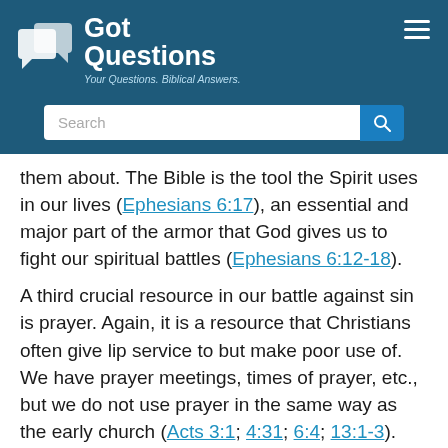Got Questions — Your Questions. Biblical Answers.
them about. The Bible is the tool the Spirit uses in our lives (Ephesians 6:17), an essential and major part of the armor that God gives us to fight our spiritual battles (Ephesians 6:12-18).
A third crucial resource in our battle against sin is prayer. Again, it is a resource that Christians often give lip service to but make poor use of. We have prayer meetings, times of prayer, etc., but we do not use prayer in the same way as the early church (Acts 3:1; 4:31; 6:4; 13:1-3). Paul repeatedly mentions how he prayed for those he ministered to...